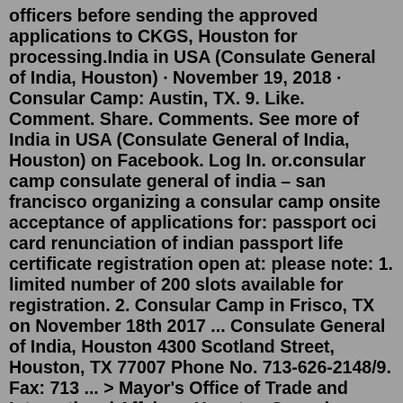officers before sending the approved applications to CKGS, Houston for processing.India in USA (Consulate General of India, Houston) · November 19, 2018 · Consular Camp: Austin, TX. 9. Like. Comment. Share. Comments. See more of India in USA (Consulate General of India, Houston) on Facebook. Log In. or.consular camp consulate general of india – san francisco organizing a consular camp onsite acceptance of applications for: passport oci card renunciation of indian passport life certificate registration open at: please note: 1. limited number of 200 slots available for registration. 2. Consular Camp in Frisco, TX on November 18th 2017 ... Consulate General of India, Houston 4300 Scotland Street, Houston, TX 77007 Phone No. 713-626-2148/9. Fax: 713 ... > Mayor's Office of Trade and International Affairs > Houston Consular Corps With over 90 different nations represented, Houston is home to the third-largest consular corps in the United States. The large and dedicated Consular Corps of Houston is among the communities that make Houston a great